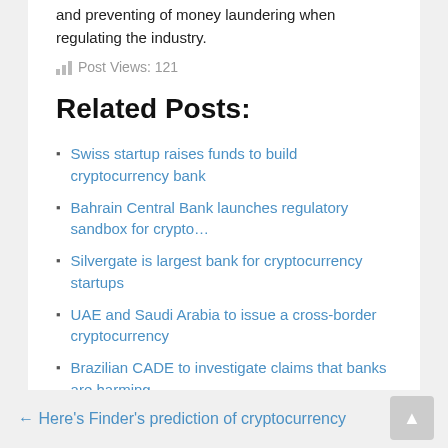and preventing of money laundering when regulating the industry.
Post Views: 121
Related Posts:
Swiss startup raises funds to build cryptocurrency bank
Bahrain Central Bank launches regulatory sandbox for crypto…
Silvergate is largest bank for cryptocurrency startups
UAE and Saudi Arabia to issue a cross-border cryptocurrency
Brazilian CADE to investigate claims that banks are harming…
Next crypto business-friendly destination could be Albania
← Here's Finder's prediction of cryptocurrency